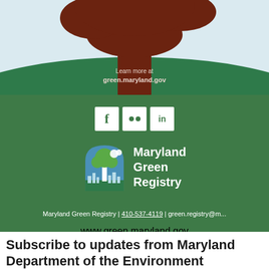[Figure (illustration): Illustrated tree with brown trunk and canopy on a green hill against a light blue sky background. Text overlay reads 'Learn more at green.maryland.gov']
[Figure (infographic): Green background section with social media icons (Facebook, Flickr, LinkedIn), Maryland Green Registry logo, contact information, and website URL]
Maryland Green Registry | 410-537-4119 | green.registry@m...
www.green.maryland.gov
Subscribe to updates from Maryland Department of the Environment